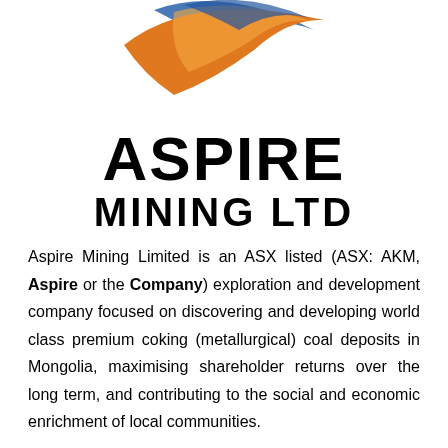[Figure (logo): Aspire Mining Ltd logo with swooping orange, blue, and white curved shape above bold black text reading ASPIRE MINING LTD]
Aspire Mining Limited is an ASX listed (ASX: AKM, Aspire or the Company) exploration and development company focused on discovering and developing world class premium coking (metallurgical) coal deposits in Mongolia, maximising shareholder returns over the long term, and contributing to the social and economic enrichment of local communities.
Aspire's primary focus is on Mongolia, a resource rich country with a rapidly developing coal mining industry emerging as a key future supply source given Mongolia's close geographical position to some of the largest coking coal consumers.